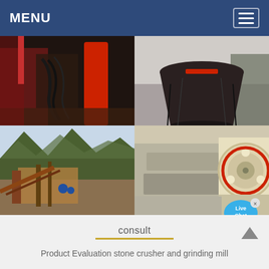MENU
[Figure (photo): Four-panel photo collage of stone crushing and mining equipment: top-left shows crusher hydraulic system with red cylinder and cables, top-right shows large cone crusher component outdoors, bottom-left shows mobile crusher plant at a quarry with mountains in background, bottom-right shows jaw/cone crusher machinery with red and yellow parts]
Mobile Crusher plant, Stone Crusher
consult
Product Evaluation stone crusher and grinding mill